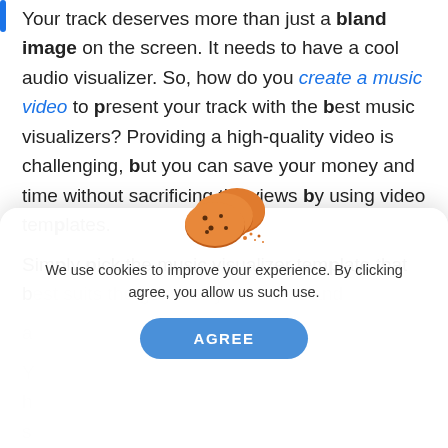Your track deserves more than just a bland image on the screen. It needs to have a cool audio visualizer. So, how do you create a music video to present your track with the best music visualizers? Providing a high-quality video is challenging, but you can save your money and time without sacrificing the views by using video templates.

Simply pick the music visualizer template that best suits the genre of your music and...
[Figure (screenshot): Cookie consent modal popup with a cookie illustration, text 'We use cookies to improve your experience. By clicking agree, you allow us such use.' and an AGREE button.]